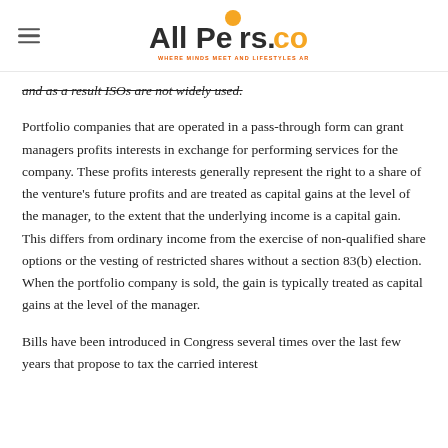All Peers.com — WHERE MINDS MEET AND LIFESTYLES ARE DEFINED
and as a result ISOs are not widely used.
Portfolio companies that are operated in a pass-through form can grant managers profits interests in exchange for performing services for the company. These profits interests generally represent the right to a share of the venture's future profits and are treated as capital gains at the level of the manager, to the extent that the underlying income is a capital gain. This differs from ordinary income from the exercise of non-qualified share options or the vesting of restricted shares without a section 83(b) election. When the portfolio company is sold, the gain is typically treated as capital gains at the level of the manager.
Bills have been introduced in Congress several times over the last few years that propose to tax the carried interest